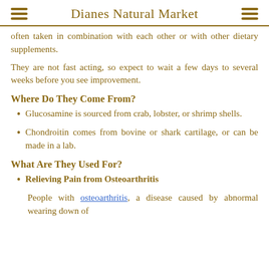Dianes Natural Market
often taken in combination with each other or with other dietary supplements.
They are not fast acting, so expect to wait a few days to several weeks before you see improvement.
Where Do They Come From?
Glucosamine is sourced from crab, lobster, or shrimp shells.
Chondroitin comes from bovine or shark cartilage, or can be made in a lab.
What Are They Used For?
Relieving Pain from Osteoarthritis
People with osteoarthritis, a disease caused by abnormal wearing down of